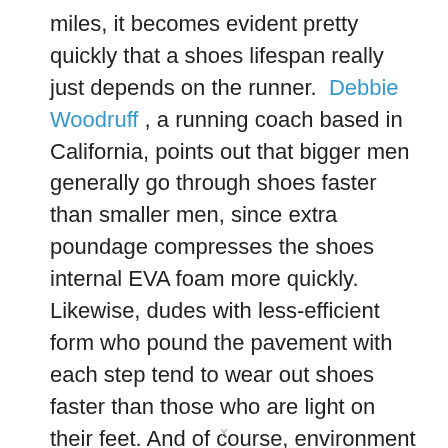miles, it becomes evident pretty quickly that a shoes lifespan really just depends on the runner. Debbie Woodruff, a running coach based in California, points out that bigger men generally go through shoes faster than smaller men, since extra poundage compresses the shoes internal EVA foam more quickly. Likewise, dudes with less-efficient form who pound the pavement with each step tend to wear out shoes faster than those who are light on their feet. And of course, environment makes a difference: Rough terrain or loose asphalt tears up shoes faster than grass or well-kempt trails.
x